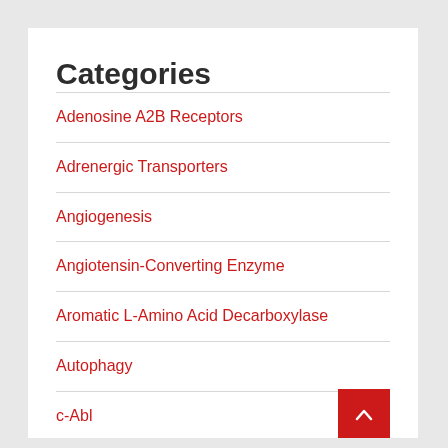Categories
Adenosine A2B Receptors
Adrenergic Transporters
Angiogenesis
Angiotensin-Converting Enzyme
Aromatic L-Amino Acid Decarboxylase
Autophagy
c-Abl